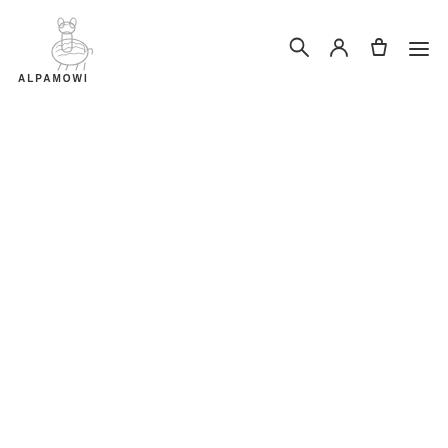AlpaMowi — navigation header with logo and icons (search, account, cart, menu)